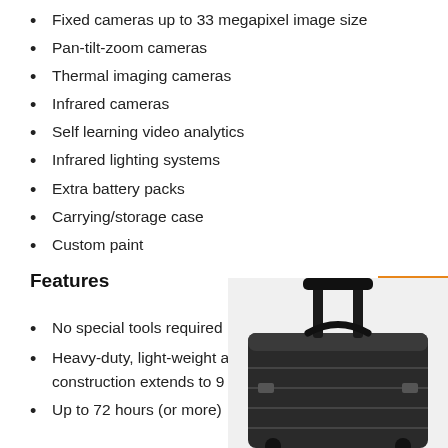Fixed cameras up to 33 megapixel image size
Pan-tilt-zoom cameras
Thermal imaging cameras
Infrared cameras
Self learning video analytics
Infrared lighting systems
Extra battery packs
Carrying/storage case
Custom paint
Features
No special tools required
Heavy-duty, light-weight aircraft aluminum construction extends to 9 feet
Up to 72 hours (or more)
[Figure (photo): Black heavy-duty rolling/carrying case with handle extended, shown at an angle]